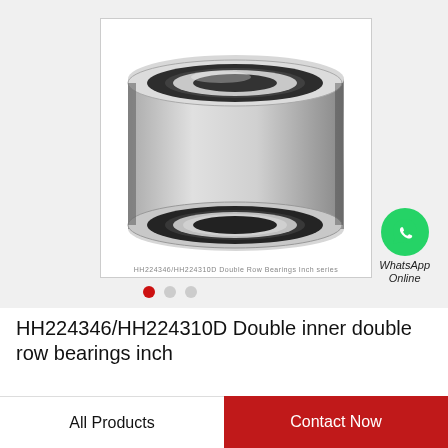[Figure (photo): Photo of HH224346/HH224310D double inner double row bearing, shown at an angle revealing the inner ring, outer ring, and rubber seal. Metallic silver finish with black seal.]
WhatsApp Online
HH224346/HH224310D Double inner double row bearings inch
All Products
Contact Now